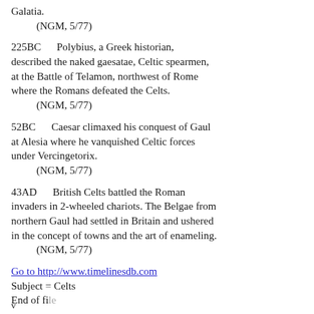Galatia.
    (NGM, 5/77)
225BC      Polybius, a Greek historian, described the naked gaesatae, Celtic spearmen, at the Battle of Telamon, northwest of Rome where the Romans defeated the Celts.
    (NGM, 5/77)
52BC      Caesar climaxed his conquest of Gaul at Alesia where he vanquished Celtic forces under Vercingetorix.
    (NGM, 5/77)
43AD      British Celts battled the Roman invaders in 2-wheeled chariots. The Belgae from northern Gaul had settled in Britain and ushered in the concept of towns and the art of enameling.
    (NGM, 5/77)
Go to http://www.timelinesdb.com
Subject = Celts
End of file
v